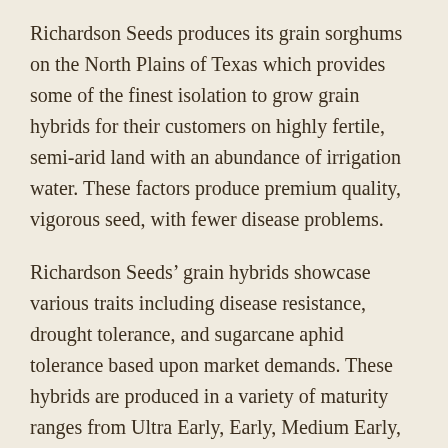Richardson Seeds produces its grain sorghums on the North Plains of Texas which provides some of the finest isolation to grow grain hybrids for their customers on highly fertile, semi-arid land with an abundance of irrigation water. These factors produce premium quality, vigorous seed, with fewer disease problems.
Richardson Seeds' grain hybrids showcase various traits including disease resistance, drought tolerance, and sugarcane aphid tolerance based upon market demands. These hybrids are produced in a variety of maturity ranges from Ultra Early, Early, Medium Early, Medium, Medium Late, and Late Maturity to accommodate the growing seasons in different regions.